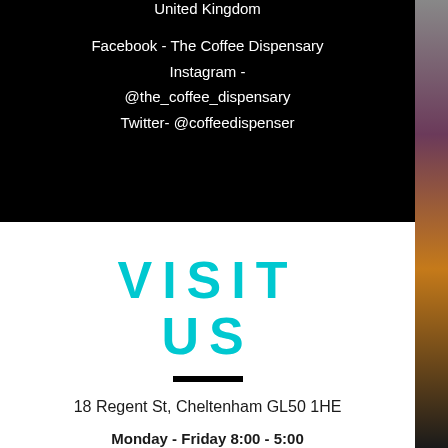United Kingdom
Facebook - The Coffee Dispensary
Instagram -
@the_coffee_dispensary
Twitter- @coffeedispenser
VISIT US
18 Regent St, Cheltenham GL50 1HE
Monday - Friday 8:00 - 5:00